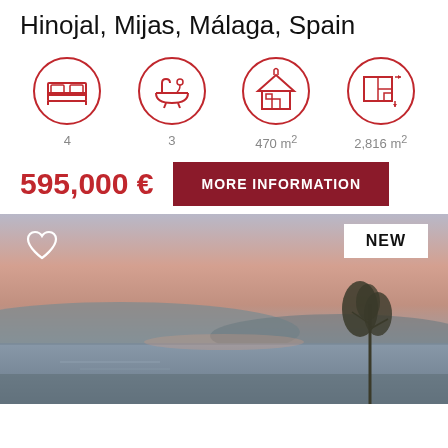Hinojal, Mijas, Málaga, Spain
[Figure (infographic): Four red circle icons: bed (4), bathtub (3), house 470 m², floor plan 2,816 m²]
4
3
470 m²
2,816 m²
595,000 €
MORE INFORMATION
[Figure (photo): Sunset landscape photo with a tree silhouette, pool water reflection, hills in the background. White heart icon top-left, NEW badge top-right.]